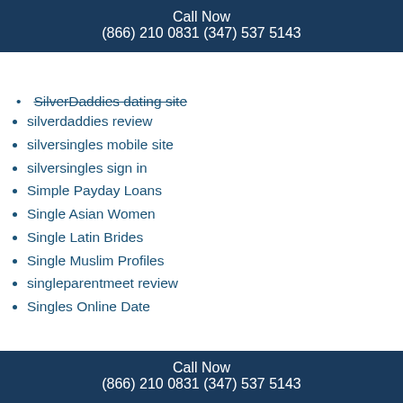Call Now
(866) 210 0831 (347) 537 5143
SilverDaddies dating site (partial, struck)
silverdaddies review
silversingles mobile site
silversingles sign in
Simple Payday Loans
Single Asian Women
Single Latin Brides
Single Muslim Profiles
singleparentmeet review
Singles Online Date
Slavic Bride
Slots Australia
Slots Of Vegas Casino
Slovenian Women For Marriage
Small Loans For Bad Credit
small payday loans
small payday loans online
Call Now
(866) 210 0831 (347) 537 5143